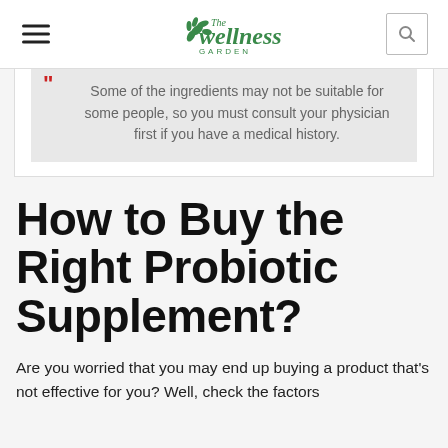The Wellness Garden
Some of the ingredients may not be suitable for some people, so you must consult your physician first if you have a medical history.
How to Buy the Right Probiotic Supplement?
Are you worried that you may end up buying a product that's not effective for you? Well, check the factors